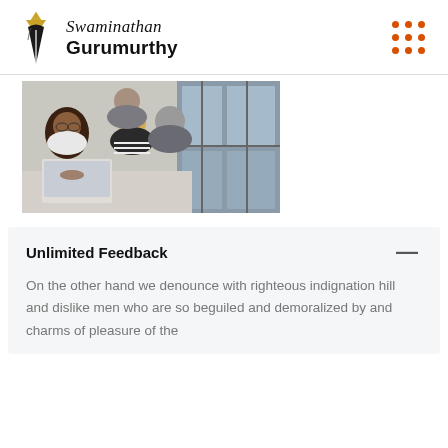Swaminathan Gurumurthy
[Figure (photo): Group of four people (two women, two men) gathered around a laptop in an office setting with large windows]
Unlimited Feedback
On the other hand we denounce with righteous indignation hill and dislike men who are so beguiled and demoralized by and charms of pleasure of the